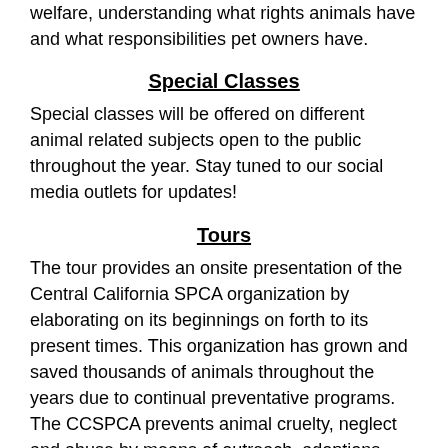welfare, understanding what rights animals have and what responsibilities pet owners have.
Special Classes
Special classes will be offered on different animal related subjects open to the public throughout the year. Stay tuned to our social media outlets for updates!
Tours
The tour provides an onsite presentation of the Central California SPCA organization by elaborating on its beginnings on forth to its present times. This organization has grown and saved thousands of animals throughout the years due to continual preventative programs. The CCSPCA prevents animal cruelty, neglect and abuse by means of outreach, adoptions, rescue, and low cost animal services offered to the public.
Event Booths